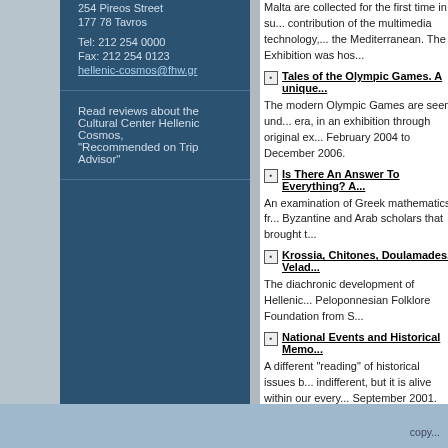254 Pireos Street
177 78 Tavros

Tel: 212 254 0000
Fax: 212 254 0123
hellenic-cosmos@fhw.gr
Read reviews about the Cultural Center Hellenic Cosmos, "Recommended on Trip Advisor"
Malta are collected for the first time in su... contribution of the multimedia technology,... the Mediterranean. The Exhibition was hos...
Tales of the Olympic Games. A unique...
The modern Olympic Games are seen und... era, in an exhibition through original ex... February 2004 to December 2006.
Is There An Answer To Everything? A...
An examination of Greek mathematics fr... Byzantine and Arab scholars that brought t...
Krossia, Chitones, Doulamades, Velad...
The diachronic development of Hellenic... Peloponnesian Folklore Foundation from S...
National Events and Historical Memo...
A different "reading" of historical issues b... indifferent, but it is alive within our every... September 2001.
Μέτρα προστασίας (COVID-19)
[Figure (other): Facebook Like button showing 3.9K likes]
copy...